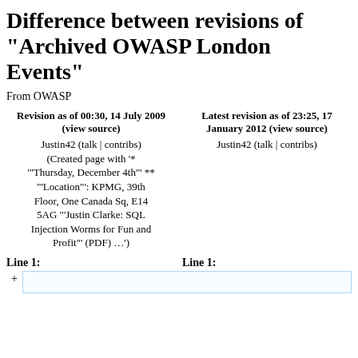Difference between revisions of "Archived OWASP London Events"
From OWASP
| Left | Right |
| --- | --- |
| Revision as of 00:30, 14 July 2009 (view source)
Justin42 (talk | contribs)
(Created page with '* "'Thursday, December 4th"' ** "'Location"": KPMG, 39th Floor, One Canada Sq, E14 5AG "'Justin Clarke: SQL Injection Worms for Fun and Profit"' (PDF) …') | Latest revision as of 23:25, 17 January 2012 (view source)
Justin42 (talk | contribs) |
Line 1:
Line 1: